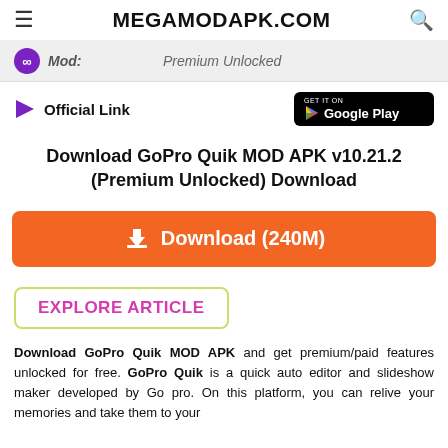MEGAMODAPK.COM
Mod: Premium Unlocked
Official Link  GET IT ON Google Play
Download GoPro Quik MOD APK v10.21.2 (Premium Unlocked) Download
Download (240M)
EXPLORE ARTICLE
Download GoPro Quik MOD APK and get premium/paid features unlocked for free. GoPro Quik is a quick auto editor and slideshow maker developed by Go pro. On this platform, you can relive your memories and take them to your